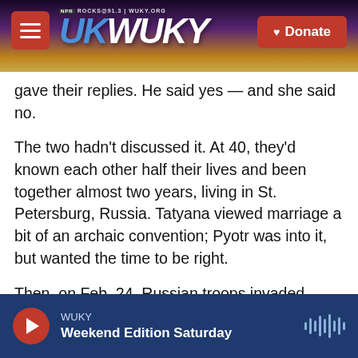WUKY NPR ROCKS @ 91.3 | WUKY.ORG — Donate
gave their replies. He said yes — and she said no.
The two hadn't discussed it. At 40, they'd known each other half their lives and been together almost two years, living in St. Petersburg, Russia. Tatyana viewed marriage a bit of an archaic convention; Pyotr was into it, but wanted the time to be right.
Then, on Feb. 24, Russian troops invaded Ukraine. The couple felt they couldn't breathe, floating in a fog, with one clarity: They should get married, now.
"To me, we are facing a world apocalypse," Pyotr says. "and this is sort of like an anchor that you
WUKY — Weekend Edition Saturday